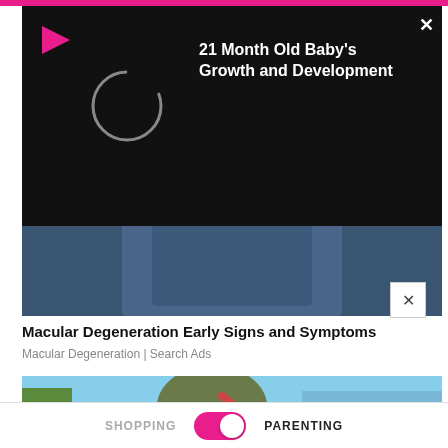[Figure (screenshot): Pink top navigation bar of a mobile app]
[Figure (screenshot): Video player overlay on mobile showing '21 Month Old Baby's Growth and Development' with play button, loading spinner, and close X button on black background]
21 Month Old Baby's Growth and Development
[Figure (photo): Partially visible advertisement image showing a person in blue/dark clothing]
Macular Degeneration Early Signs and Symptoms
Macular Degeneration | Search Ads
[Figure (photo): Military person in camouflage uniform drinking from a hose outdoors near water with military vehicles in background on a sunny day]
SHOPPING  PARENTING